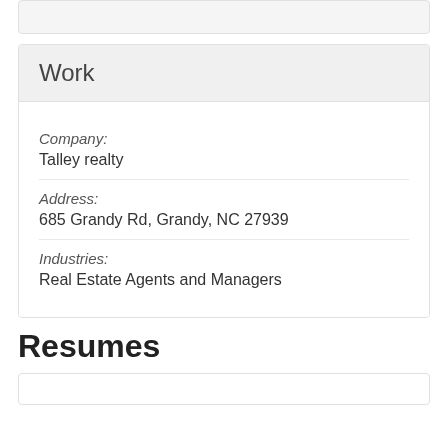Work
Company:
Talley realty
Address:
685 Grandy Rd, Grandy, NC 27939
Industries:
Real Estate Agents and Managers
Resumes